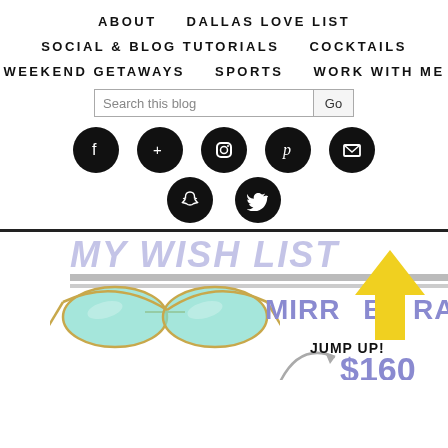ABOUT   DALLAS LOVE LIST   SOCIAL & BLOG TUTORIALS   COCKTAILS   WEEKEND GETAWAYS   SPORTS   WORK WITH ME
[Figure (screenshot): Blog navigation menu with social media icons (Facebook, Google+, Instagram, Pinterest, Email, Snapchat, Twitter), search bar, and partial product image of mirrored Ray-Ban sunglasses with price jump-up overlay showing $160]